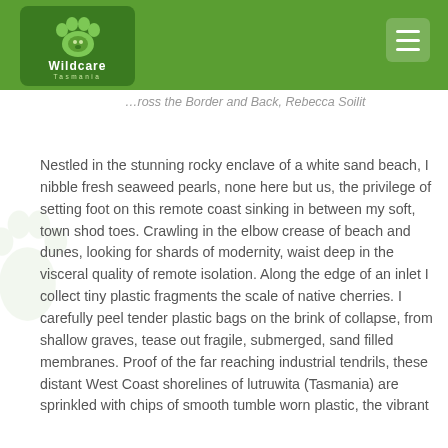Cross the Border and Back, Rebecca Soilit
Nestled in the stunning rocky enclave of a white sand beach, I nibble fresh seaweed pearls, none here but us, the privilege of setting foot on this remote coast sinking in between my soft, town shod toes. Crawling in the elbow crease of beach and dunes, looking for shards of modernity, waist deep in the visceral quality of remote isolation. Along the edge of an inlet I collect tiny plastic fragments the scale of native cherries. I carefully peel tender plastic bags on the brink of collapse, from shallow graves, tease out fragile, submerged, sand filled membranes. Proof of the far reaching industrial tendrils, these distant West Coast shorelines of lutruwita (Tasmania) are sprinkled with chips of smooth tumble worn plastic, the vibrant